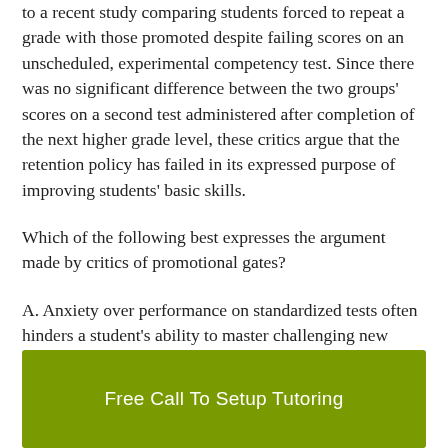to a recent study comparing students forced to repeat a grade with those promoted despite failing scores on an unscheduled, experimental competency test. Since there was no significant difference between the two groups' scores on a second test administered after completion of the next higher grade level, these critics argue that the retention policy has failed in its expressed purpose of improving students' basic skills.
Which of the following best expresses the argument made by critics of promotional gates?
A. Anxiety over performance on standardized tests often hinders a student's ability to master challenging new material.
B. A student's true intellectual development cannot be gauged by
Free Call To Setup Tutoring